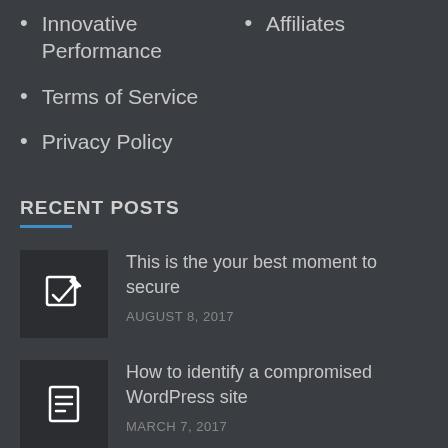Innovative Performance
Affiliates
Terms of Service
Privacy Policy
RECENT POSTS
[Figure (illustration): Dark square thumbnail with a pencil/edit icon (square with checkmark and pen)]
This is the your best moment to secure
AUGUST 8, 2017
[Figure (illustration): Dark square thumbnail with a document/lines icon]
How to identify a compromised WordPress site
MARCH 7, 2017